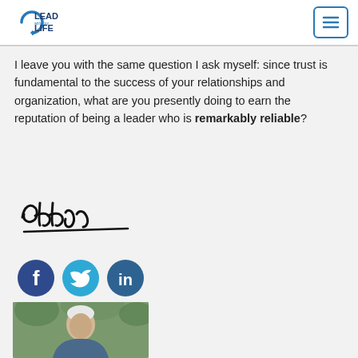Lead With Your Life logo and navigation menu
I leave you with the same question I ask myself: since trust is fundamental to the success of your relationships and organization, what are you presently doing to earn the reputation of being a leader who is remarkably reliable?
[Figure (illustration): Handwritten signature reading 'Chuck']
[Figure (illustration): Social media icons: Facebook, Twitter, LinkedIn]
[Figure (photo): Photo of a smiling older man with white hair outdoors]